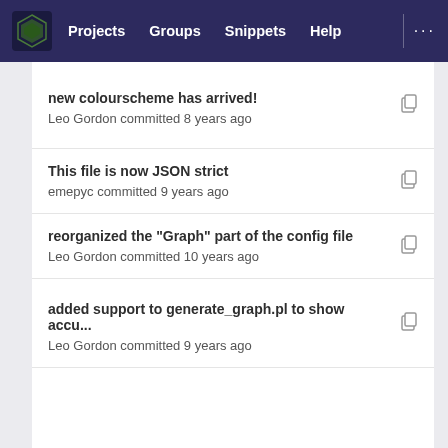Projects  Groups  Snippets  Help  ...
new colourscheme has arrived!
Leo Gordon committed 8 years ago
This file is now JSON strict
emepyc committed 9 years ago
reorganized the "Graph" part of the config file
Leo Gordon committed 10 years ago
added support to generate_graph.pl to show accu...
Leo Gordon committed 9 years ago